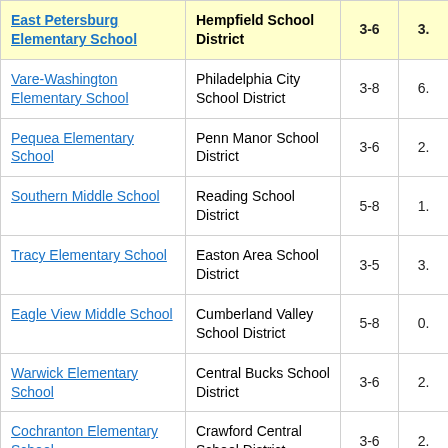| School | District | Grades |  |
| --- | --- | --- | --- |
| East Petersburg Elementary School | Hempfield School District | 3-6 | 3. |
| Vare-Washington Elementary School | Philadelphia City School District | 3-8 | 6. |
| Pequea Elementary School | Penn Manor School District | 3-6 | 2. |
| Southern Middle School | Reading School District | 5-8 | 1. |
| Tracy Elementary School | Easton Area School District | 3-5 | 3. |
| Eagle View Middle School | Cumberland Valley School District | 5-8 | 0. |
| Warwick Elementary School | Central Bucks School District | 3-6 | 2. |
| Cochranton Elementary School | Crawford Central School District | 3-6 | 2. |